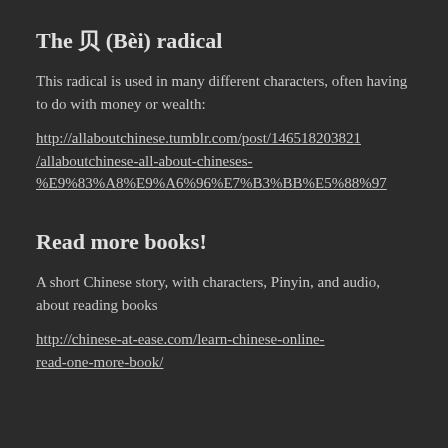The 贝 (Bèi) radical
This radical is used in many different characters, often having to do with money or wealth:
http://allaboutchinese.tumblr.com/post/146518203821/allaboutchinese-all-about-chineses-%E9%83%A8%E9%A6%96%E7%B3%BB%E5%88%97
Read more books!
A short Chinese story, with characters, Pinyin, and audio, about reading books
http://chinese-at-ease.com/learn-chinese-online-read-one-more-book/